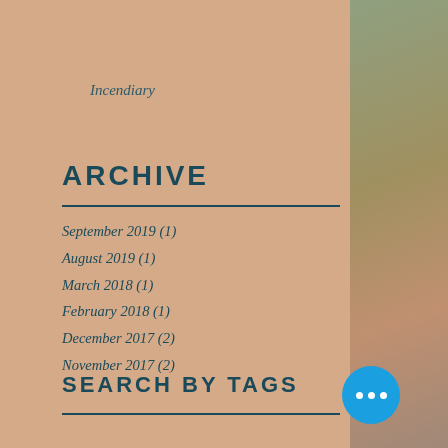Incendiary
ARCHIVE
September 2019 (1)
August 2019 (1)
March 2018 (1)
February 2018 (1)
December 2017 (2)
November 2017 (2)
SEARCH BY TAGS